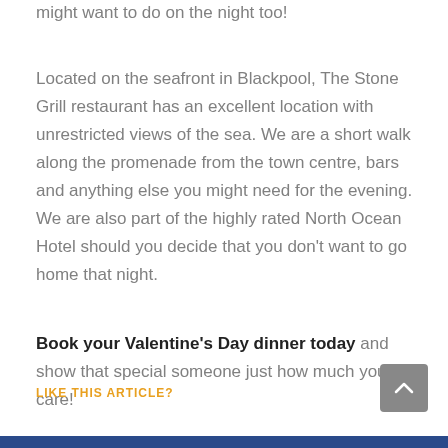might want to do on the night too!
Located on the seafront in Blackpool, The Stone Grill restaurant has an excellent location with unrestricted views of the sea. We are a short walk along the promenade from the town centre, bars and anything else you might need for the evening. We are also part of the highly rated North Ocean Hotel should you decide that you don't want to go home that night.
Book your Valentine's Day dinner today and show that special someone just how much you care!
LIKE THIS ARTICLE?